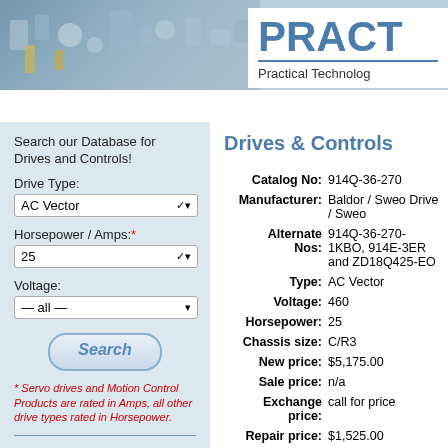[Figure (screenshot): Header banner with electronic components background image on left, white area on right with 'PRACT' logo text in blue, blue underline, and 'Practical Technolog' subtitle]
Drives & Controls | Motors | Parts & Accessories | Components
Search our Database for Drives and Controls!
Drive Type: AC Vector
Horsepower / Amps:* 25
Voltage: — all —
Search
* Servo drives and Motion Control Products are rated in Amps, all other drive types rated in Horsepower.
Search our Database by
Drives & Controls
| Field | Value |
| --- | --- |
| Catalog No: | 914Q-36-270 |
| Manufacturer: | Baldor / Sweo Drive / Sweo |
| Alternate Nos: | 914Q-36-270-1KBO, 914E-3ER and ZD18Q425-EO |
| Type: | AC Vector |
| Voltage: | 460 |
| Horsepower: | 25 |
| Chassis size: | C/R3 |
| New price: | $5,175.00 |
| Sale price: | n/a |
| Exchange price: | call for price |
| Repair price: | $1,525.00 |